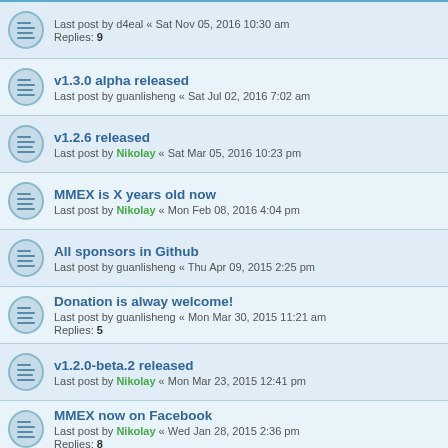Last post by d4eal « Sat Nov 05, 2016 10:30 am | Replies: 9
v1.3.0 alpha released | Last post by guanlisheng « Sat Jul 02, 2016 7:02 am
v1.2.6 released | Last post by Nikolay « Sat Mar 05, 2016 10:23 pm
MMEX is X years old now | Last post by Nikolay « Mon Feb 08, 2016 4:04 pm
All sponsors in Github | Last post by guanlisheng « Thu Apr 09, 2015 2:25 pm
Donation is alway welcome! | Last post by guanlisheng « Mon Mar 30, 2015 11:21 am | Replies: 5
v1.2.0-beta.2 released | Last post by Nikolay « Mon Mar 23, 2015 12:41 pm
MMEX now on Facebook | Last post by Nikolay « Wed Jan 28, 2015 2:36 pm | Replies: 8
V1.2.0-alpha released | Last post by guanlisheng « Tue Dec 23, 2014 3:11 pm
New Topic | 45 topics | Page 1 | 2